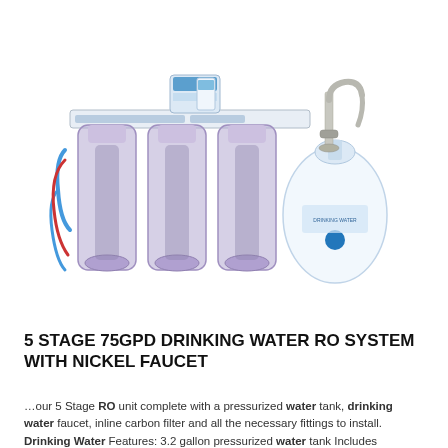[Figure (photo): A 5-stage reverse osmosis water filtration system with three transparent purple filter canisters, a filter manifold with blue tubing, a white pressurized storage tank, and a nickel faucet.]
5 STAGE 75GPD DRINKING WATER RO SYSTEM WITH NICKEL FAUCET
…our 5 Stage RO unit complete with a pressurized water tank, drinking water faucet, inline carbon filter and all the necessary fittings to install. Drinking Water Features: 3.2 gallon pressurized water tank Includes